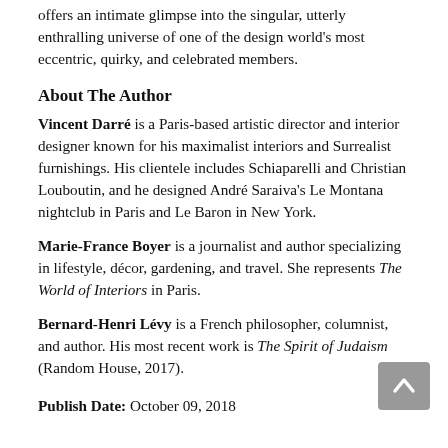offers an intimate glimpse into the singular, utterly enthralling universe of one of the design world's most eccentric, quirky, and celebrated members.
About The Author
Vincent Darré is a Paris-based artistic director and interior designer known for his maximalist interiors and Surrealist furnishings. His clientele includes Schiaparelli and Christian Louboutin, and he designed André Saraiva's Le Montana nightclub in Paris and Le Baron in New York.
Marie-France Boyer is a journalist and author specializing in lifestyle, décor, gardening, and travel. She represents The World of Interiors in Paris.
Bernard-Henri Lévy is a French philosopher, columnist, and author. His most recent work is The Spirit of Judaism (Random House, 2017).
Publish Date: October 09, 2018